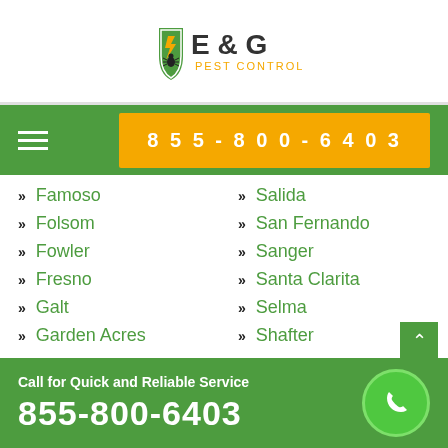[Figure (logo): E & G Pest Control logo — shield with lightning bolt and bug, text E & G PEST CONTROL]
855-800-6403
Famoso
Folsom
Fowler
Fresno
Galt
Garden Acres
Salida
San Fernando
Sanger
Santa Clarita
Selma
Shafter
Call for Quick and Reliable Service 855-800-6403